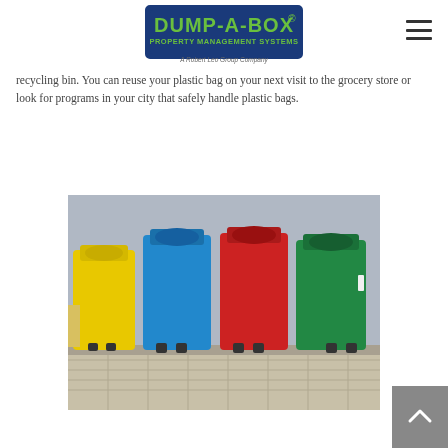Dump-A-Box Property Management Systems — A Robert Leo Group Company
recycling bin. You can reuse your plastic bag on your next visit to the grocery store or look for programs in your city that safely handle plastic bags.
[Figure (photo): Four colorful recycling bins (yellow, blue, red, green) lined up against a gray wall on a tiled sidewalk.]